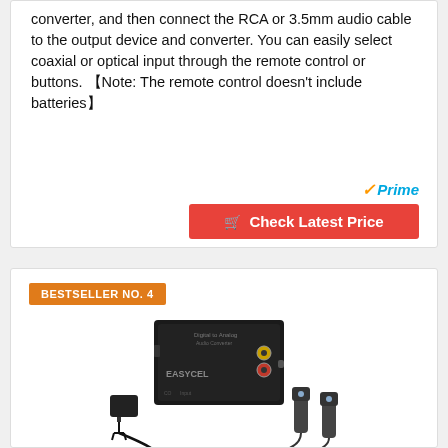converter, and then connect the RCA or 3.5mm audio cable to the output device and converter. You can easily select coaxial or optical input through the remote control or buttons. 【Note: The remote control doesn't include batteries】
[Figure (logo): Amazon Prime checkmark and Prime logo in orange and blue]
Check Latest Price
BESTSELLER NO. 4
[Figure (photo): EASYCEL digital to analog audio converter device with RCA outputs, power adapter, and optical cable accessories on white background]